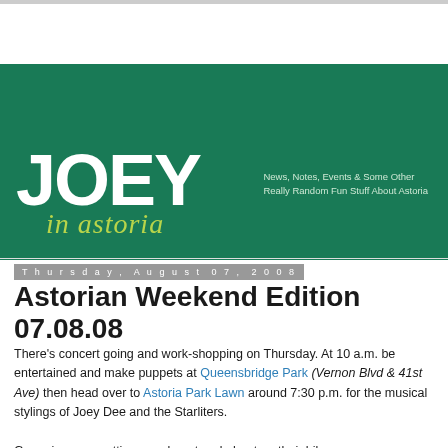[Figure (logo): Joey in Astoria blog logo on green background with tagline: News, Notes, Events & Some Other Really Random Fun Stuff About Astoria]
Thursday, August 07, 2008
Astorian Weekend Edition 07.08.08
There's concert going and work-shopping on Thursday. At 10 a.m. be entertained and make puppets at Queensbridge Park (Vernon Blvd & 41st Ave) then head over to Astoria Park Lawn around 7:30 p.m. for the musical stylings of Joey Dee and the Starliters.
Gas prices are getting people out and about on their bikes;